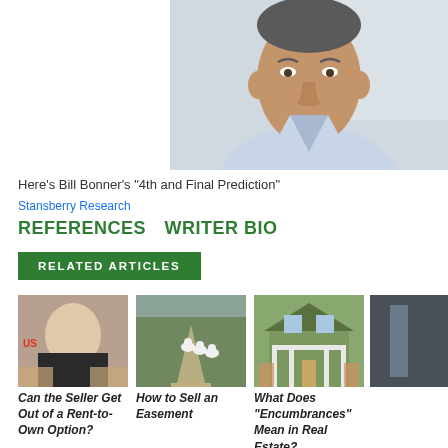[Figure (photo): Photo of an older man in a light blue dress shirt, partial upper body and face visible, indoor/outdoor background]
Here's Bill Bonner's "4th and Final Prediction"
Stansberry Research
REFERENCES   WRITER BIO
RELATED ARTICLES
[Figure (photo): Woman with arms crossed, sitting at a desk with boxes]
Can the Seller Get Out of a Rent-to-Own Option?
[Figure (photo): Geese walking on a dirt path in a green field]
How to Sell an Easement
[Figure (photo): Green house with white porch columns, people with signs in foreground]
What Does "Encumbrances" Mean in Real Estate?
[Figure (photo): Partially visible fourth article image (cropped)]